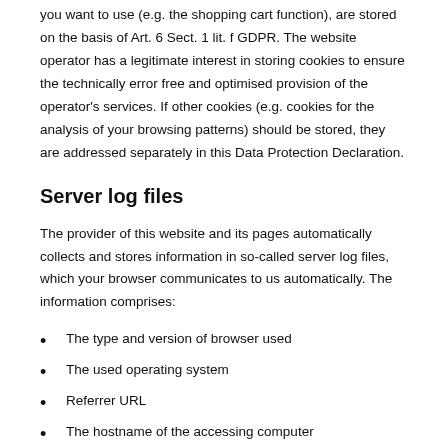you want to use (e.g. the shopping cart function), are stored on the basis of Art. 6 Sect. 1 lit. f GDPR. The website operator has a legitimate interest in storing cookies to ensure the technically error free and optimised provision of the operator's services. If other cookies (e.g. cookies for the analysis of your browsing patterns) should be stored, they are addressed separately in this Data Protection Declaration.
Server log files
The provider of this website and its pages automatically collects and stores information in so-called server log files, which your browser communicates to us automatically. The information comprises:
The type and version of browser used
The used operating system
Referrer URL
The hostname of the accessing computer